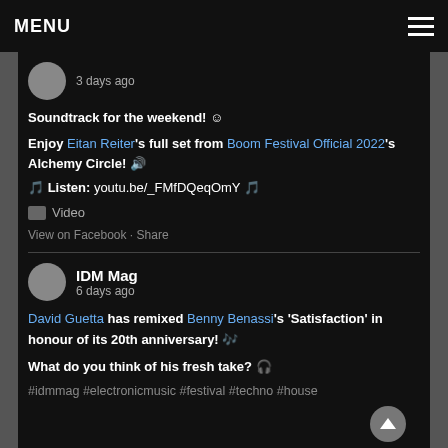MENU
3 days ago
Soundtrack for the weekend! ☺
Enjoy Eitan Reiter's full set from Boom Festival Official 2022's Alchemy Circle! 🔊
🎵 Listen: youtu.be/_FMfDQeqOmY 🎵
[Figure (other): Video badge icon with label Video]
View on Facebook · Share
IDM Mag
6 days ago
David Guetta has remixed Benny Benassi's 'Satisfaction' in honour of its 20th anniversary! 🎶
What do you think of his fresh take? 🎧
#idmmag #electronicmusic #festival #techno #house